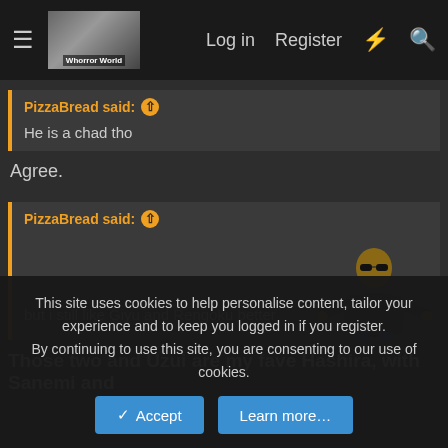Log in  Register
PizzaBread said: ↑
He is a chad tho
Agree.
PizzaBread said: ↑
but i still like Giyu and Rengoku better
[Figure (photo): Animated character in dark jacket and sunglasses, arms outstretched]
Those two and Uzui are my fave Hashira, with Sanemi and
This site uses cookies to help personalise content, tailor your experience and to keep you logged in if you register.
By continuing to use this site, you are consenting to our use of cookies.